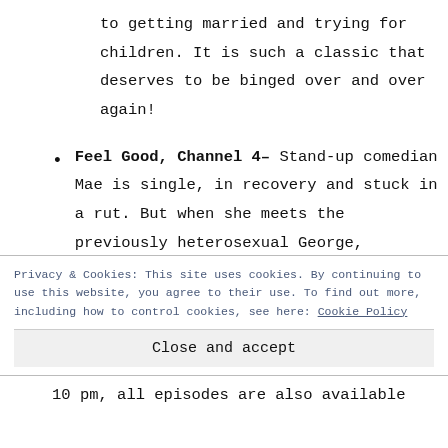to getting married and trying for children. It is such a classic that deserves to be binged over and over again!
Feel Good, Channel 4– Stand-up comedian Mae is single, in recovery and stuck in a rut. But when she meets the previously heterosexual George,
Privacy & Cookies: This site uses cookies. By continuing to use this website, you agree to their use. To find out more, including how to control cookies, see here: Cookie Policy
Close and accept
10 pm, all episodes are also available